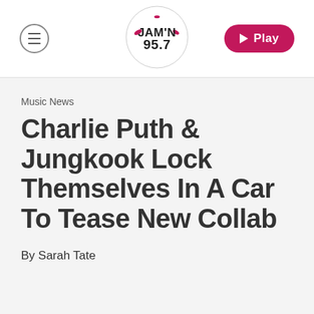[Figure (logo): JAM'N 95.7 radio station logo — circular badge with stylized text]
Music News
Charlie Puth & Jungkook Lock Themselves In A Car To Tease New Collab
By Sarah Tate